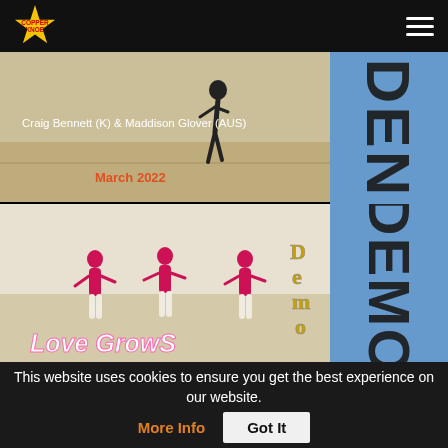[Figure (screenshot): Website navigation bar with logo badge and hamburger menu on black background]
[Figure (screenshot): Dance video thumbnail showing a dancer figure with text 'Craig Bennett (K) & Maddison Glover (AUS)' and 'March 2022' in red]
[Figure (screenshot): Dance video thumbnail showing three women in pink tops dancing, with 'Love Grows' text and 'Demo' overlay. Blue DEMO column on right.]
[Figure (screenshot): Partial thumbnail of another dance video]
This website uses cookies to ensure you get the best experience on our website.
More Info
Got It